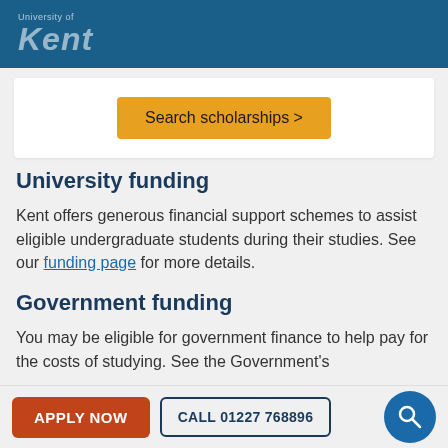University of Kent
Search scholarships >
University funding
Kent offers generous financial support schemes to assist eligible undergraduate students during their studies. See our funding page for more details.
Government funding
You may be eligible for government finance to help pay for the costs of studying. See the Government's
APPLY NOW   CALL 01227 768896